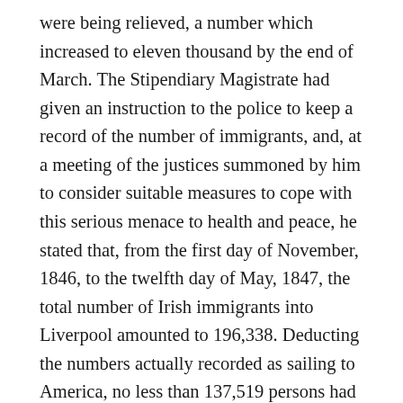were being relieved, a number which increased to eleven thousand by the end of March. The Stipendiary Magistrate had given an instruction to the police to keep a record of the number of immigrants, and, at a meeting of the justices summoned by him to consider suitable measures to cope with this serious menace to health and peace, he stated that, from the first day of November, 1846, to the twelfth day of May, 1847, the total number of Irish immigrants into Liverpool amounted to 196,338. Deducting the numbers actually recorded as sailing to America, no less than 137,519 persons had been added to the population of Liverpool. When the year ended, the total number of immigrants, excluding those who were bound for America, reached the immense total of 296,231, all “apparently paupers.” [Head Constable Dowling’s Report